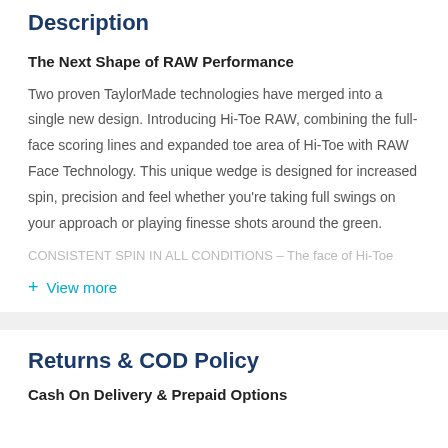Description
The Next Shape of RAW Performance
Two proven TaylorMade technologies have merged into a single new design. Introducing Hi-Toe RAW, combining the full-face scoring lines and expanded toe area of Hi-Toe with RAW Face Technology. This unique wedge is designed for increased spin, precision and feel whether you’re taking full swings on your approach or playing finesse shots around the green.
CONSISTENT SPIN IN ALL CONDITIONS – The face of Hi-Toe
+ View more
Returns & COD Policy
Cash On Delivery & Prepaid Options